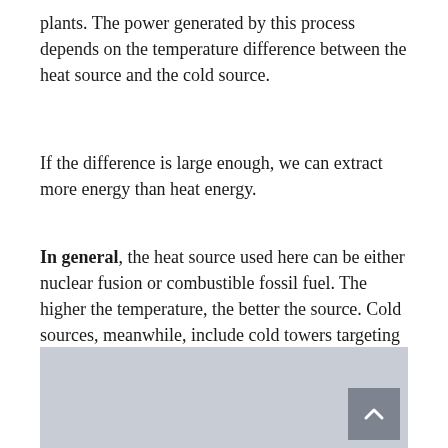plants. The power generated by this process depends on the temperature difference between the heat source and the cold source.
If the difference is large enough, we can extract more energy than heat energy.
In general, the heat source used here can be either nuclear fusion or combustible fossil fuel. The higher the temperature, the better the source. Cold sources, meanwhile, include cold towers targeting water.
[Figure (other): Gray image placeholder block with a scroll-to-top button in the bottom right corner]